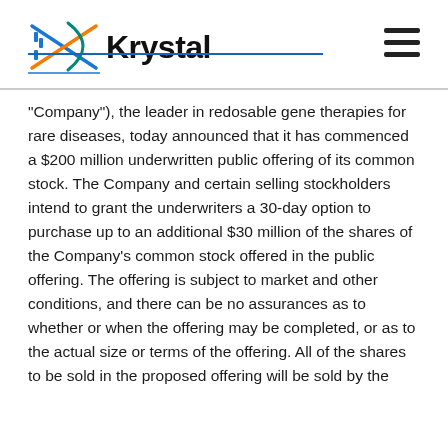Krystal
“Company”), the leader in redosable gene therapies for rare diseases, today announced that it has commenced a $200 million underwritten public offering of its common stock. The Company and certain selling stockholders intend to grant the underwriters a 30-day option to purchase up to an additional $30 million of the shares of the Company’s common stock offered in the public offering. The offering is subject to market and other conditions, and there can be no assurances as to whether or when the offering may be completed, or as to the actual size or terms of the offering. All of the shares to be sold in the proposed offering will be sold by the